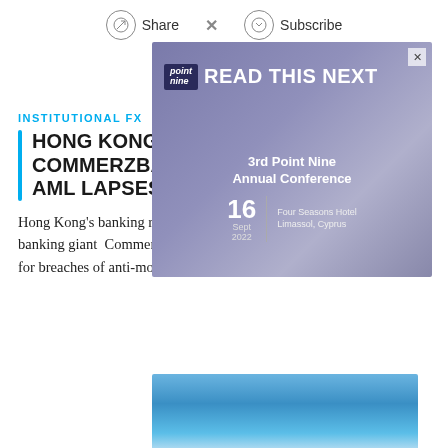Share  ×  Subscribe
[Figure (infographic): Advertisement overlay with purple/mauve background showing 'READ THIS NEXT' with Point Nine logo and '3rd Point Nine Annual Conference, 16 Sept 2022, Four Seasons Hotel, Limassol, Cyprus' text]
INSTITUTIONAL FX
HONG KONG'S REGULATOR FINES COMMERZBANK AG $6 MILLION FOR AML LAPSES
Hong Kong's banking regulator has fined the local unit of German banking giant Commerzbank AG HK$6 million (roughly $765,000) for breaches of anti-money laundering rules.
[Figure (photo): Bottom partial photo with blue sky/gradient background]